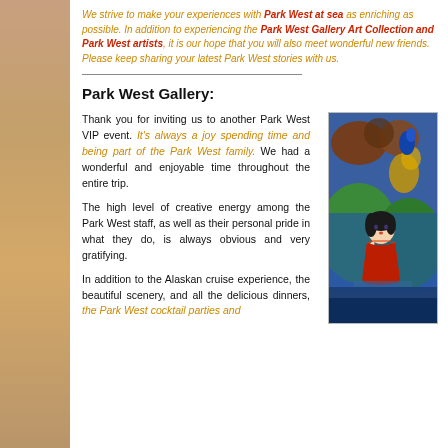We strive to make your experiences with Park West at sea as enriching as possible. In addition to experiencing the Park West Gallery Art Collection and Park West artists, it is our hope that you will also meet wonderful new friends. Please keep sharing your latest Park West stories with us.
Park West Gallery:
Thank you for inviting us to another Park West VIP event. It's always a joy spending time and being part of the Park West family. We had a wonderful and enjoyable time throughout the entire trip.
The high level of creative energy among the Park West staff, as well as their personal pride in what they do, is always obvious and very gratifying.
In addition to the Alaskan cruise experience, the beautiful scenery, and all the delicious dinners, the Park West cocktail parties and
[Figure (illustration): Painting of a woman in a red dress with a colorful abstract background featuring decorative motifs in blue, green, brown, and yellow tones.]